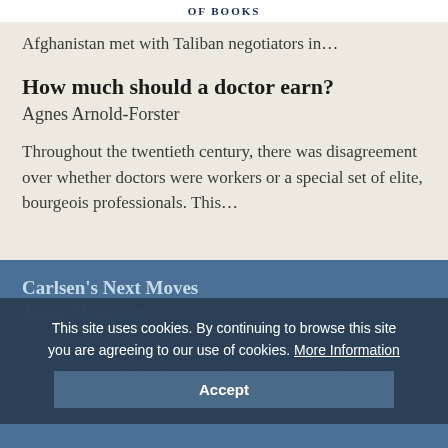OF BOOKS
Afghanistan met with Taliban negotiators in...
How much should a doctor earn?
Agnes Arnold-Forster
Throughout the twentieth century, there was disagreement over whether doctors were workers or a special set of elite, bourgeois professionals. This...
Carlsen's Next Moves
Andrew McGettigan
The 44th chess Olympiad concluded in Chennai last week with Ukraine's women edging out Georgia and Uzbekistan winning the open competition with a...
This site uses cookies. By continuing to browse this site you are agreeing to our use of cookies. More Information
Accept